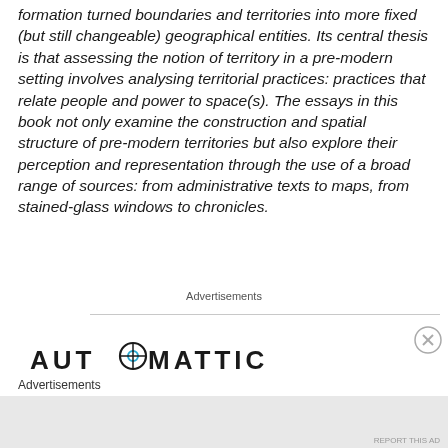formation turned boundaries and territories into more fixed (but still changeable) geographical entities. Its central thesis is that assessing the notion of territory in a pre-modern setting involves analysing territorial practices: practices that relate people and power to space(s). The essays in this book not only examine the construction and spatial structure of pre-modern territories but also explore their perception and representation through the use of a broad range of sources: from administrative texts to maps, from stained-glass windows to chronicles.
Advertisements
[Figure (logo): Automattic logo with circular compass/target icon replacing the letter O]
Advertisements